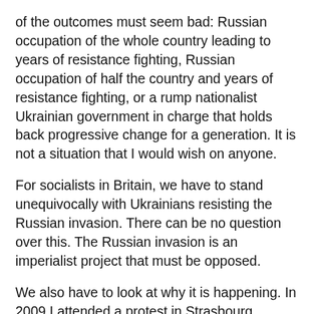of the outcomes must seem bad: Russian occupation of the whole country leading to years of resistance fighting, Russian occupation of half the country and years of resistance fighting, or a rump nationalist Ukrainian government in charge that holds back progressive change for a generation. It is not a situation that I would wish on anyone.
For socialists in Britain, we have to stand unequivocally with Ukrainians resisting the Russian invasion. There can be no question over this. The Russian invasion is an imperialist project that must be opposed.
We also have to look at why it is happening. In 2009 I attended a protest in Strasbourg against NATO. This military organisation has only one reason to exist: to further the aims of Western imperialism. We knew then that its continued existence could only be a further driver for wars. There can also be no question that the encirclement of Russia by NATO is one of the key drivers of the current conflict; ordinary